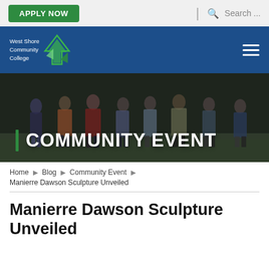APPLY NOW | Search ...
[Figure (logo): West Shore Community College logo with tree/arrow graphic on blue navigation bar with hamburger menu]
[Figure (photo): Banner photo of group of people standing on grass, overlaid with large white text 'COMMUNITY EVENT' with a green left border accent]
Home › Blog › Community Event › Manierre Dawson Sculpture Unveiled
Manierre Dawson Sculpture Unveiled